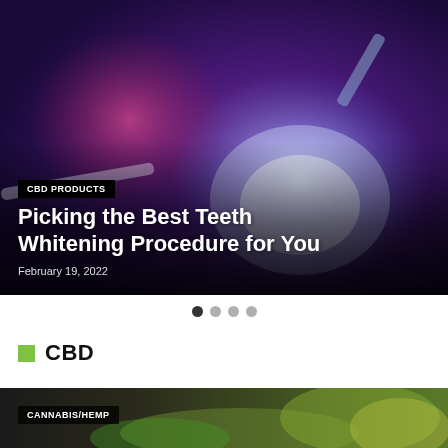[Figure (photo): A close-up photo of a dental teeth whitening procedure being performed, with blue/purple UV light illuminating a mouth guard/whitening tray. A dental professional in blue scrubs is visible in the background.]
CBD PRODUCTS
Picking the Best Teeth Whitening Procedure for You
February 19, 2022
CBD
[Figure (photo): A close-up photo of cannabis/hemp plant with green leaves, partially visible at the bottom of the page.]
CANNABIS/HEMP